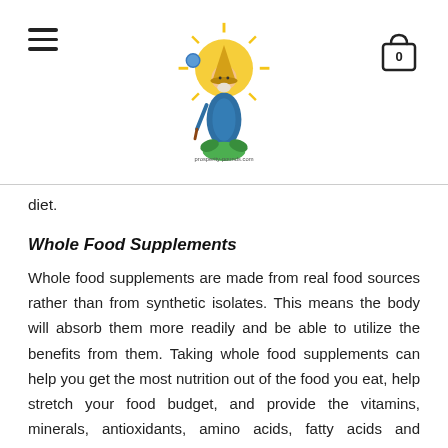[Navigation header with hamburger menu, prosperity-pounds.com logo, and shopping cart icon showing 0]
diet.
Whole Food Supplements
Whole food supplements are made from real food sources rather than from synthetic isolates. This means the body will absorb them more readily and be able to utilize the benefits from them. Taking whole food supplements can help you get the most nutrition out of the food you eat, help stretch your food budget, and provide the vitamins, minerals, antioxidants, amino acids, fatty acids and proteins you need to stay healthy. For example, taking digestive enzymes helps you absorb more nutrients from the food you eat. Then probiotics like acidophilus and bifidus help your body process